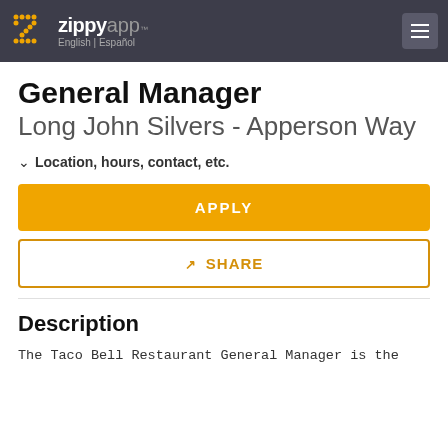ZippyApp™ English | Español
General Manager
Long John Silvers - Apperson Way
Location, hours, contact, etc.
APPLY
SHARE
Description
The Taco Bell Restaurant General Manager is the